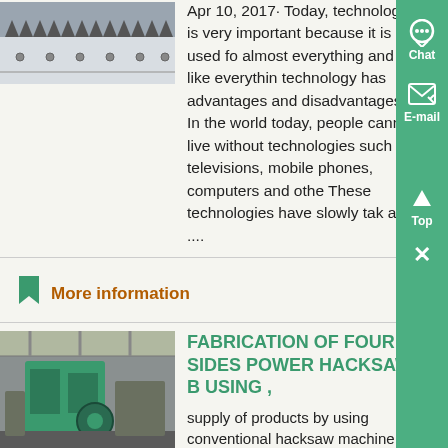[Figure (photo): Close-up photo of a saw blade with metal teeth against a light background]
Apr 10, 2017· Today, technology is very important because it is used for almost everything and like everything technology has advantages and disadvantages In the world today, people cannot live without technologies such as televisions, mobile phones, computers and other. These technologies have slowly take an ....
More information
[Figure (photo): Industrial machine (green hacksaw machine) in a factory/warehouse setting]
FABRICATION OF FOUR SIDES POWER HACKSAW B USING ,
supply of products by using conventional hacksaw machine is w